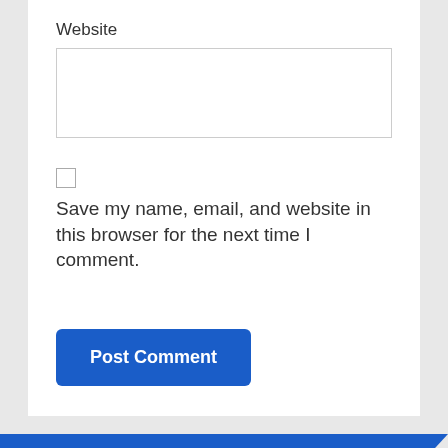Website
[Figure (other): Empty text input box for website URL]
[Figure (other): Unchecked checkbox]
Save my name, email, and website in this browser for the next time I comment.
[Figure (other): Post Comment button (blue)]
Categories
Business
[Figure (other): Scroll to top button (blue, arrow up)]